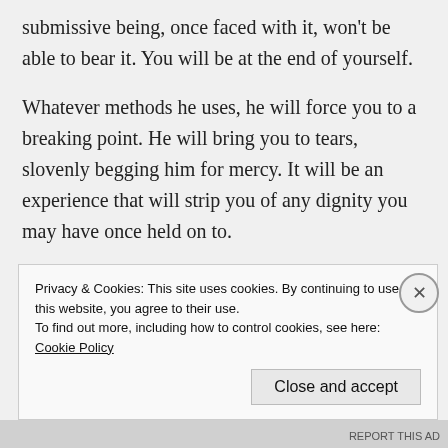submissive being, once faced with it, won't be able to bear it. You will be at the end of yourself.
Whatever methods he uses, he will force you to a breaking point. He will bring you to tears, slovenly begging him for mercy. It will be an experience that will strip you of any dignity you may have once held on to.
He may give you a choice: to continue with him and submit more fully to his rule, or to leave
Privacy & Cookies: This site uses cookies. By continuing to use this website, you agree to their use.
To find out more, including how to control cookies, see here: Cookie Policy